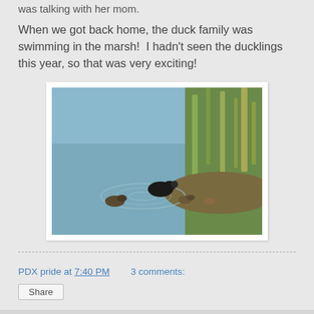was talking with her mom.
When we got back home, the duck family was swimming in the marsh!  I hadn't seen the ducklings this year, so that was very exciting!
[Figure (photo): Duck family swimming in a marsh with green reeds and water ripples, showing a dark adult duck and smaller ducklings.]
PDX pride at 7:40 PM   3 comments:
Share
Sunday, May 13, 2012
Happy Mother's Day, Happy Birthdays